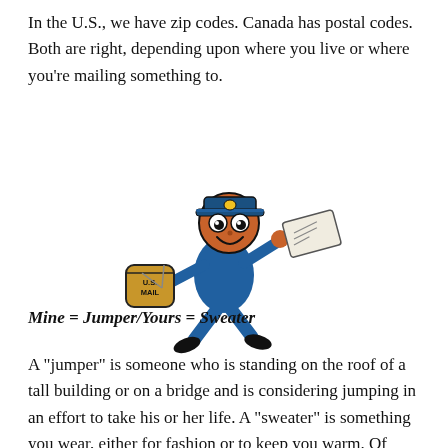In the U.S., we have zip codes. Canada has postal codes. Both are right, depending upon where you live or where you're mailing something to.
[Figure (illustration): Cartoon illustration of a running U.S. mail carrier in a blue uniform and cap, carrying a letter in one hand and a U.S. Mail bag in the other.]
Mine = Jumper/Yours = Sweater
A "jumper" is someone who is standing on the roof of a tall building or on a bridge and is considering jumping in an effort to take his or her life. A "sweater" is something you wear, either for fashion or to keep you warm. Of course...